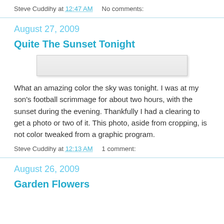Steve Cuddihy at 12:47 AM    No comments:
August 27, 2009
Quite The Sunset Tonight
[Figure (photo): Blank/loading image placeholder rectangle]
What an amazing color the sky was tonight. I was at my son's football scrimmage for about two hours, with the sunset during the evening. Thankfully I had a clearing to get a photo or two of it. This photo, aside from cropping, is not color tweaked from a graphic program.
Steve Cuddihy at 12:13 AM    1 comment:
August 26, 2009
Garden Flowers